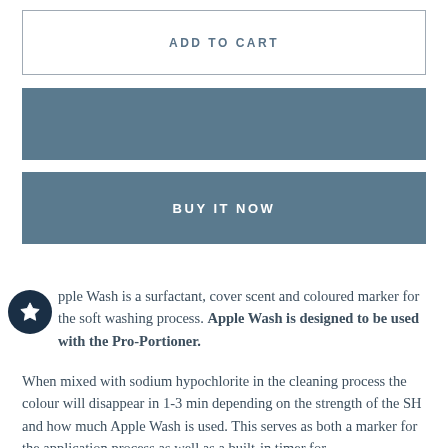ADD TO CART
BUY IT NOW
Apple Wash is a surfactant, cover scent and coloured marker for the soft washing process. Apple Wash is designed to be used with the Pro-Portioner.
When mixed with sodium hypochlorite in the cleaning process the colour will disappear in 1-3 min depending on the strength of the SH and how much Apple Wash is used. This serves as both a marker for the application process as well as a built-in timer for